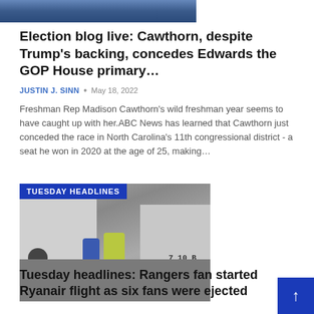[Figure (photo): Partial top image showing people, cropped at top of page]
Election blog live: Cawthorn, despite Trump's backing, concedes Edwards the GOP House primary…
JUSTIN J. SINN • May 18, 2022
Freshman Rep Madison Cawthorn's wild freshman year seems to have caught up with her.ABC News has learned that Cawthorn just conceded the race in North Carolina's 11th congressional district - a seat he won in 2020 at the age of 25, making…
[Figure (photo): Video thumbnail showing a scene with a police officer, a person in blue, and vehicles including a truck and bus. Badge overlay reads TUESDAY HEADLINES.]
Tuesday headlines: Rangers fan started Ryanair flight as six fans were ejected